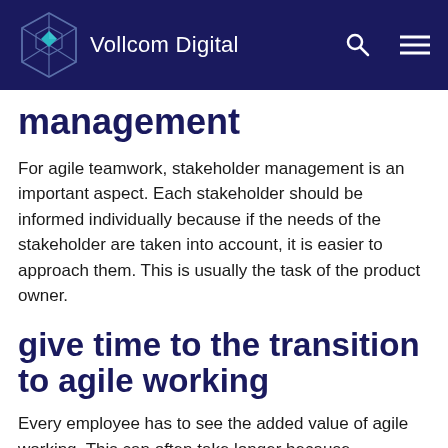Vollcom Digital
management
For agile teamwork, stakeholder management is an important aspect. Each stakeholder should be informed individually because if the needs of the stakeholder are taken into account, it is easier to approach them. This is usually the task of the product owner.
give time to the transition to agile working
Every employee has to see the added value of agile working. This can often take longer because